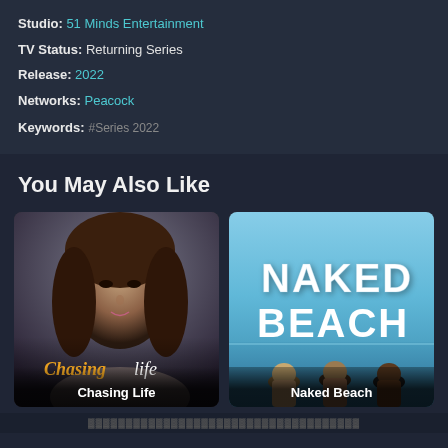Studio: 51 Minds Entertainment
TV Status: Returning Series
Release: 2022
Networks: Peacock
Keywords: #Series 2022
You May Also Like
[Figure (photo): Chasing Life show poster with a woman's portrait and stylized title text]
Chasing Life
[Figure (photo): Naked Beach show poster showing three people from behind looking at the ocean with large white title text]
Naked Beach